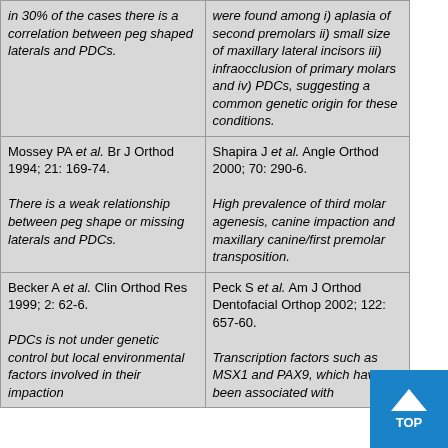| in 30% of the cases there is a correlation between peg shaped laterals and PDCs. | were found among i) aplasia of second premolars ii) small size of maxillary lateral incisors iii) infraocclusion of primary molars and iv) PDCs, suggesting a common genetic origin for these conditions. |
| Mossey PA et al. Br J Orthod 1994; 21: 169-74.

There is a weak relationship between peg shape or missing laterals and PDCs. | Shapira J et al. Angle Orthod 2000; 70: 290-6.

High prevalence of third molar agenesis, canine impaction and maxillary canine/first premolar transposition. |
| Becker A et al. Clin Orthod Res 1999; 2: 62-6.

PDCs is not under genetic control but local environmental factors involved in their impaction | Peck S et al. Am J Orthod Dentofacial Orthop 2002; 122: 657-60.

Transcription factors such as MSX1 and PAX9, which have been associated with |